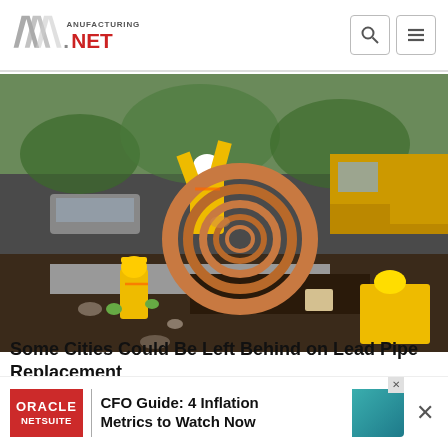Manufacturing.NET
[Figure (photo): Construction workers in yellow safety vests and hard hats working in an excavation site. One worker holds a large coil of copper pipe/tubing. Another worker is in the excavated hole. A utility truck is visible in the background. The scene depicts pipe replacement work.]
OPERATIONS
Some Cities Could Be Left Behind on Lead Pipe Replacement
Communities that may not be eligible...
[Figure (screenshot): Oracle NetSuite advertisement banner: CFO Guide: 4 Inflation Metrics to Watch Now]